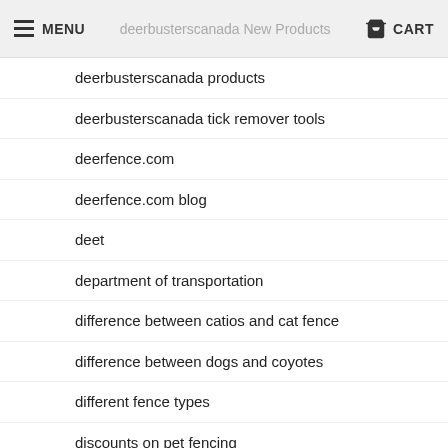MENU  deerbusterscanada New Products  CART
deerbusterscanada products
deerbusterscanada tick remover tools
deerfence.com
deerfence.com blog
deet
department of transportation
difference between catios and cat fence
difference between dogs and coyotes
different fence types
discounts on pet fencing
diseases in deer
DIY
diy cat fence
diy cat fence installation